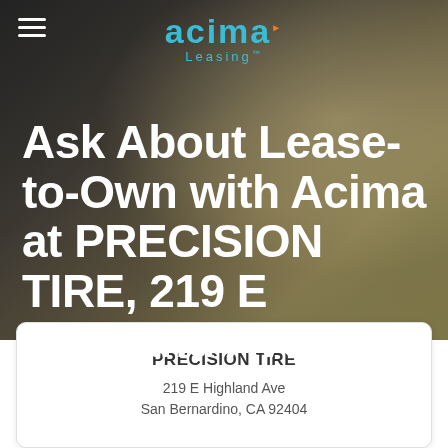[Figure (screenshot): Acima Leasing mobile webpage screenshot showing hero image of a woman smiling with dark overlay, Acima Leasing logo at top center, hamburger menu at top left, and large white bold headline text.]
Ask About Lease-to-Own with Acima at PRECISION TIRE, 219 E Highland Ave
PRECISION TIRE
219 E Highland Ave
San Bernardino, CA 92404